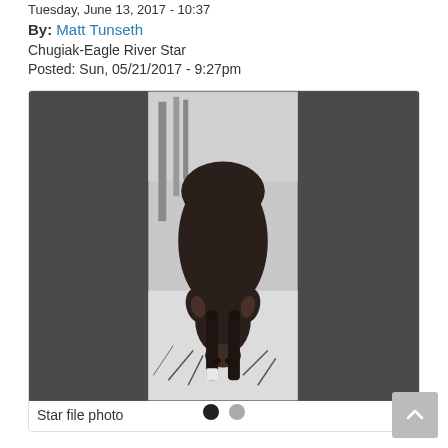Tuesday, June 13, 2017 - 10:37
By: Matt Tunseth
Chugiak-Eagle River Star
Posted: Sun, 05/21/2017 - 9:27pm
[Figure (photo): A moose standing in snow near bare trees and brush, facing the camera, photographed close-up. The photo has dark gray panels on the left and right sides of the composition.]
Star file photo